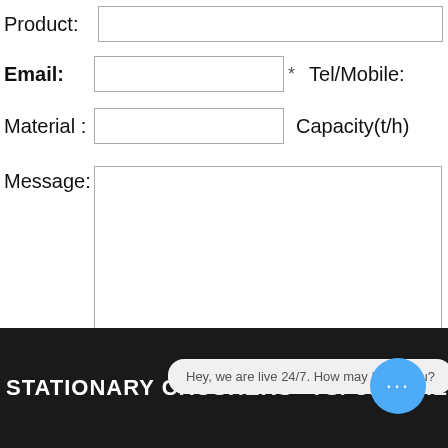Product:
Email: * Tel/Mobile:
Material : Capacity(t/h)
Message:
STATIONARY CRUSHERS   VSI CRUSHERS
Hey, we are live 24/7. How may I help you?